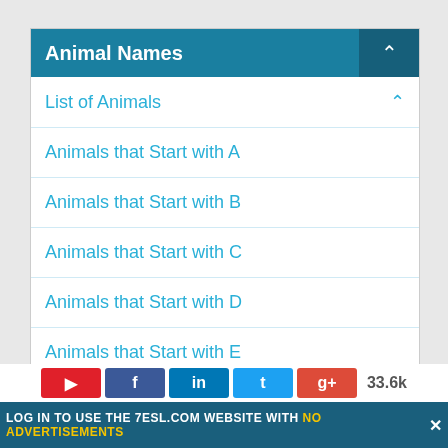Animal Names
List of Animals
Animals that Start with A
Animals that Start with B
Animals that Start with C
Animals that Start with D
Animals that Start with E
Animals that Start with F
Animals that Start with G
LOG IN TO USE THE 7ESL.COM WEBSITE WITH NO ADVERTISEMENTS